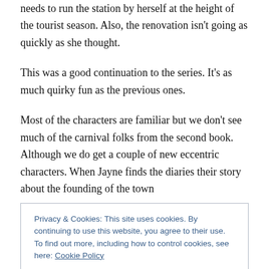needs to run the station by herself at the height of the tourist season. Also, the renovation isn't going as quickly as she thought.
This was a good continuation to the series. It's as much quirky fun as the previous ones.
Most of the characters are familiar but we don't see much of the carnival folks from the second book. Although we do get a couple of new eccentric characters. When Jayne finds the diaries their story about the founding of the town
Privacy & Cookies: This site uses cookies. By continuing to use this website, you agree to their use.
To find out more, including how to control cookies, see here: Cookie Policy
Close and accept
death.